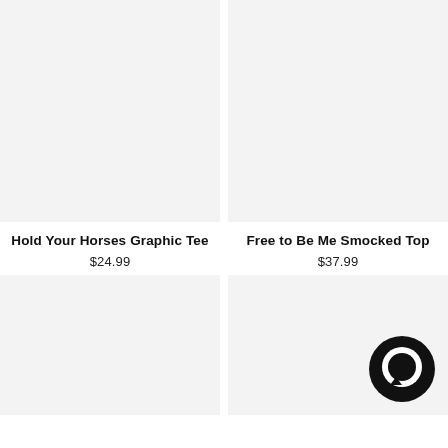[Figure (photo): Product image placeholder for Hold Your Horses Graphic Tee - light gray background]
Hold Your Horses Graphic Tee
$24.99
[Figure (photo): Product image placeholder for Free to Be Me Smocked Top - light gray background]
Free to Be Me Smocked Top
$37.99
[Figure (photo): Product image placeholder - light gray background, bottom left]
[Figure (photo): Product image placeholder - light gray background with chat bubble icon, bottom right]